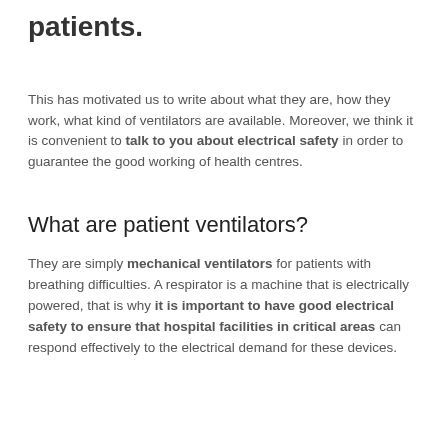patients.
This has motivated us to write about what they are, how they work, what kind of ventilators are available. Moreover, we think it is convenient to talk to you about electrical safety in order to guarantee the good working of health centres.
What are patient ventilators?
They are simply mechanical ventilators for patients with breathing difficulties. A respirator is a machine that is electrically powered, that is why it is important to have good electrical safety to ensure that hospital facilities in critical areas can respond effectively to the electrical demand for these devices.